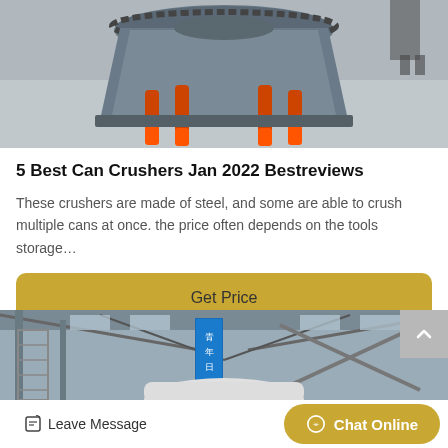[Figure (photo): Aerial/top-down view of a large industrial cone crusher machine with orange hydraulic cylinders, sitting on a concrete floor in a factory]
5 Best Can Crushers Jan 2022 Bestreviews
These crushers are made of steel, and some are able to crush multiple cans at once. the price often depends on the tools storage…
[Figure (photo): Interior view of an industrial factory building with metal scaffolding, a blue banner with Chinese text, and large white machinery]
Leave Message
Chat Online